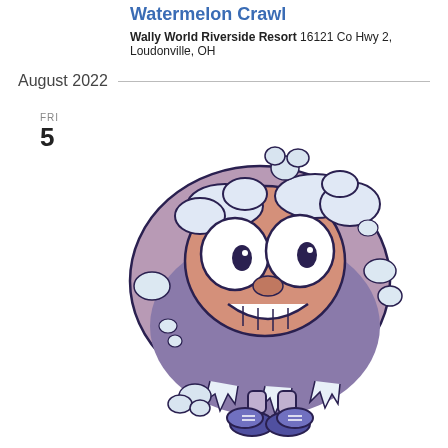Watermelon Crawl
Wally World Riverside Resort 16121 Co Hwy 2, Loudonville, OH
August 2022
FRI
5
[Figure (illustration): Cartoon illustration of a funny frozen watermelon character with googly eyes, a wide grin showing teeth, wearing sneakers, with ice crystals and steam clouds around it]